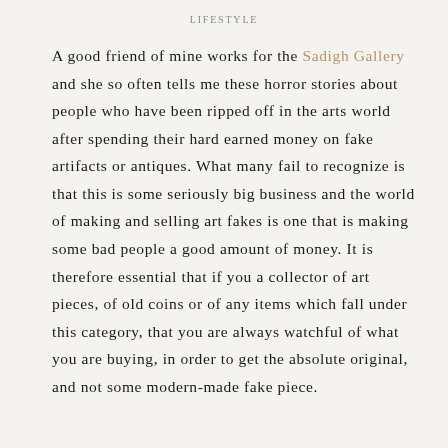LIFESTYLE
A good friend of mine works for the Sadigh Gallery and she so often tells me these horror stories about people who have been ripped off in the arts world after spending their hard earned money on fake artifacts or antiques. What many fail to recognize is that this is some seriously big business and the world of making and selling art fakes is one that is making some bad people a good amount of money. It is therefore essential that if you a collector of art pieces, of old coins or of any items which fall under this category, that you are always watchful of what you are buying, in order to get the absolute original, and not some modern-made fake piece.